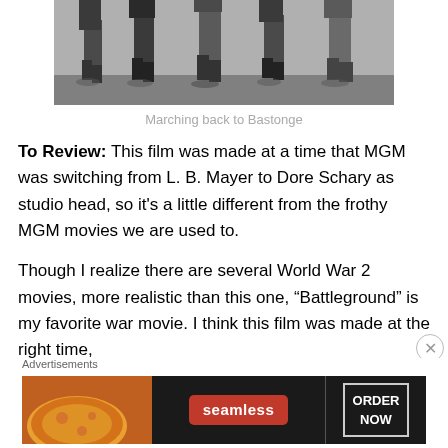[Figure (photo): Black and white photograph of soldiers marching, showing legs and boots from approximately knee-height down, with shadows on the ground.]
Marching back to Bastonge
To Review: This film was made at a time that MGM was switching from L. B. Mayer to Dore Schary as studio head, so it's a little different from the frothy MGM movies we are used to.
Though I realize there are several World War 2 movies, more realistic than this one, “Battleground” is my favorite war movie. I think this film was made at the right time,
Advertisements
[Figure (photo): Seamless food delivery advertisement banner showing pizza and the Seamless logo with 'ORDER NOW' button.]